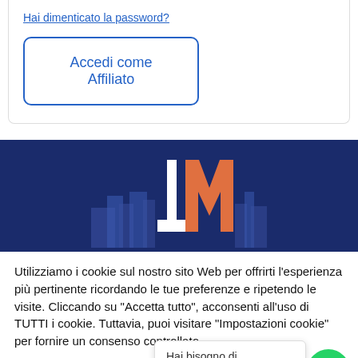Hai dimenticato la password?
Accedi come Affiliato
[Figure (logo): 1M logo on dark blue background with stylized city skyline silhouette]
Utilizziamo i cookie sul nostro sito Web per offrirti l'esperienza più pertinente ricordando le tue preferenze e ripetendo le visite. Cliccando su "Accetta tutto", acconsenti all'uso di TUTTI i cookie. Tuttavia, puoi visitare "Impostazioni cookie" per fornire un consenso controllato.
Cookie Settings
Accetta
Hai bisogno di consulenza? Scrivici